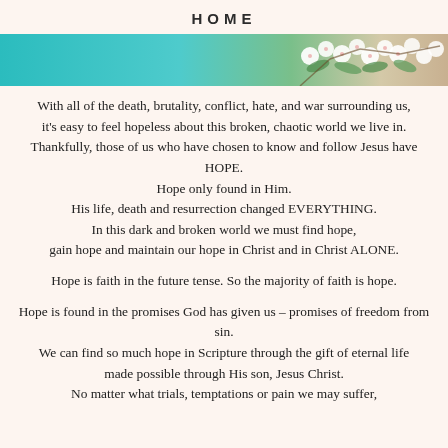HOME
[Figure (photo): Horizontal banner image showing teal/turquoise painted wood background on the left and white cherry blossom flowers with green leaves on the right.]
With all of the death, brutality, conflict, hate, and war surrounding us,
it's easy to feel hopeless about this broken, chaotic world we live in.
Thankfully, those of us who have chosen to know and follow Jesus have HOPE.
Hope only found in Him.
His life, death and resurrection changed EVERYTHING.
In this dark and broken world we must find hope,
gain hope and maintain our hope in Christ and in Christ ALONE.
Hope is faith in the future tense. So the majority of faith is hope.
Hope is found in the promises God has given us – promises of freedom from sin.
We can find so much hope in Scripture through the gift of eternal life
made possible through His son, Jesus Christ.
No matter what trials, temptations or pain we may suffer,